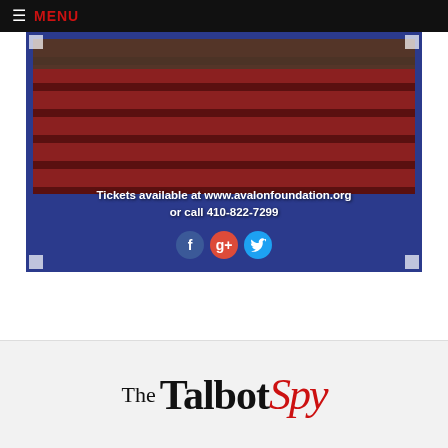MENU
[Figure (photo): Theater advertisement showing red theater seats with text overlay 'Tickets available at www.avalonfoundation.org or call 410-822-7299' and social media icons for Facebook, Google+, and Twitter on a dark blue bordered background.]
[Figure (logo): The Talbot Spy logo — 'The Talbot' in black serif text and 'Spy' in red italic serif script.]